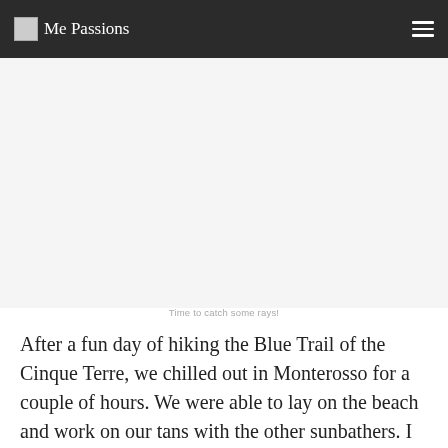Me Passions
[Figure (photo): Blank/white image area representing a beach photo with caption 'Time to catch some rays!']
Time to catch some rays!
After a fun day of hiking the Blue Trail of the Cinque Terre, we chilled out in Monterosso for a couple of hours. We were able to lay on the beach and work on our tans with the other sunbathers. I can’t believe I am sunning myself on the Italian Riviera on the Mediterranean Sea! It’s definitely a bucket list item